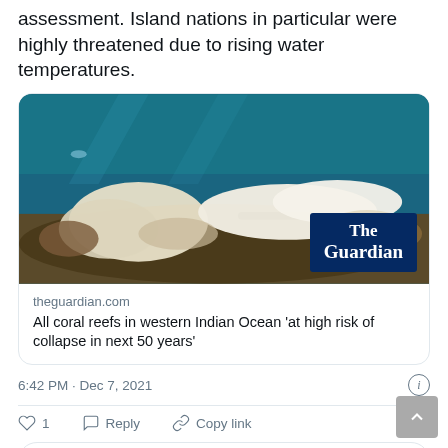assessment. Island nations in particular were highly threatened due to rising water temperatures.
[Figure (screenshot): Screenshot of a Guardian article link card embedded in a tweet. Shows a photo of bleached coral reef underwater with 'The Guardian' logo badge in the bottom right corner.]
theguardian.com
All coral reefs in western Indian Ocean 'at high risk of collapse in next 50 years'
6:42 PM · Dec 7, 2021
1  Reply  Copy link
Explore what's happening on Twitter